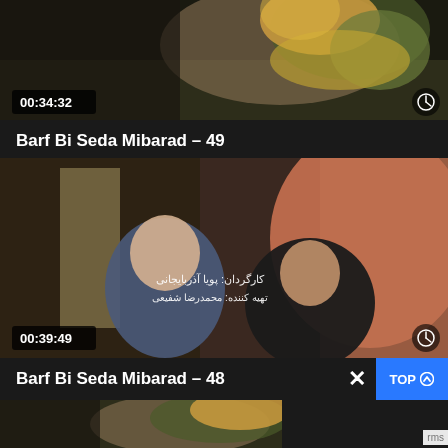[Figure (screenshot): Video thumbnail for episode 49 showing colorful scene, timestamp 00:34:32, clock icon]
Barf Bi Seda Mibarad – 49
[Figure (screenshot): Video thumbnail showing two women in hijab and a man, with Persian text overlay, timestamp 00:39:49, clock icon]
Barf Bi Seda Mibarad – 48
[Figure (screenshot): Bottom partial thumbnail with colorful scene, partially visible, with TOP button overlay]